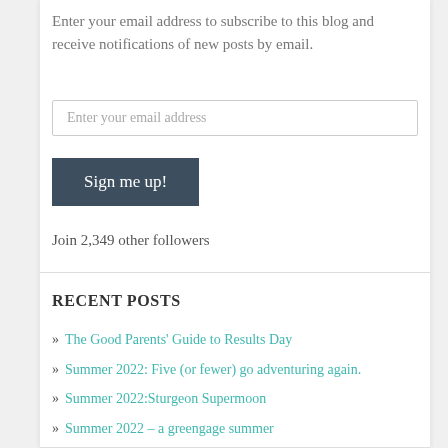Enter your email address to subscribe to this blog and receive notifications of new posts by email.
[Figure (other): Email input field with placeholder text 'Enter your email address']
[Figure (other): Sign me up! button (dark slate blue)]
Join 2,349 other followers
RECENT POSTS
» The Good Parents' Guide to Results Day
» Summer 2022: Five (or fewer) go adventuring again.
» Summer 2022:Sturgeon Supermoon
» Summer 2022 – a greengage summer
» Summer 2022: Making memories